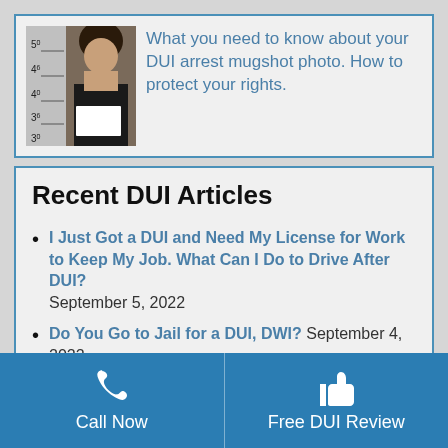[Figure (photo): Mugshot photo of a woman holding a white board, standing against a height measurement wall]
What you need to know about your DUI arrest mugshot photo. How to protect your rights.
Recent DUI Articles
I Just Got a DUI and Need My License for Work to Keep My Job. What Can I Do to Drive After DUI? September 5, 2022
Do You Go to Jail for a DUI, DWI? September 4, 2022
Call Now   Free DUI Review